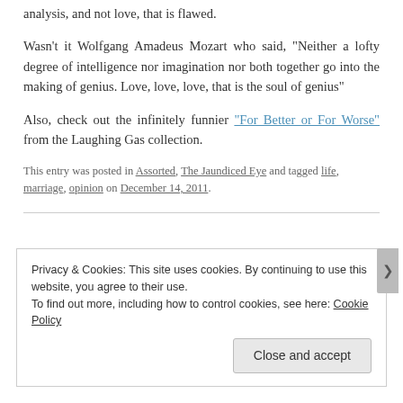analysis, and not love, that is flawed.
Wasn't it Wolfgang Amadeus Mozart who said, “Neither a lofty degree of intelligence nor imagination nor both together go into the making of genius. Love, love, love, that is the soul of genius”
Also, check out the infinitely funnier “For Better or For Worse” from the Laughing Gas collection.
This entry was posted in Assorted, The Jaundiced Eye and tagged life, marriage, opinion on December 14, 2011.
Privacy & Cookies: This site uses cookies. By continuing to use this website, you agree to their use. To find out more, including how to control cookies, see here: Cookie Policy
Close and accept